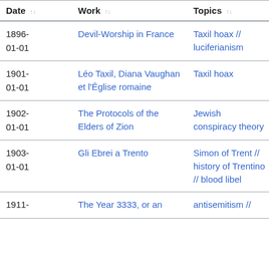| Date | Work | Topics |
| --- | --- | --- |
| 1896-01-01 | Devil-Worship in France | Taxil hoax // luciferianism |
| 1901-01-01 | Léo Taxil, Diana Vaughan et l'Église romaine | Taxil hoax |
| 1902-01-01 | The Protocols of the Elders of Zion | Jewish conspiracy theory |
| 1903-01-01 | Gli Ebrei a Trento | Simon of Trent // history of Trentino // blood libel |
| 1911- | The Year 3333, or an | antisemitism // |